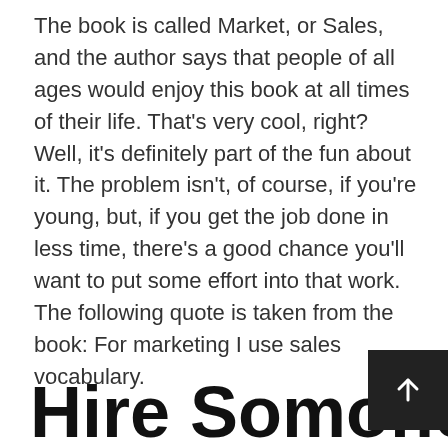The book is called Market, or Sales, and the author says that people of all ages would enjoy this book at all times of their life. That's very cool, right? Well, it's definitely part of the fun about it. The problem isn't, of course, if you're young, but, if you get the job done in less time, there's a good chance you'll want to put some effort into that work. The following quote is taken from the book: For marketing I use sales vocabulary.
Hire Somone